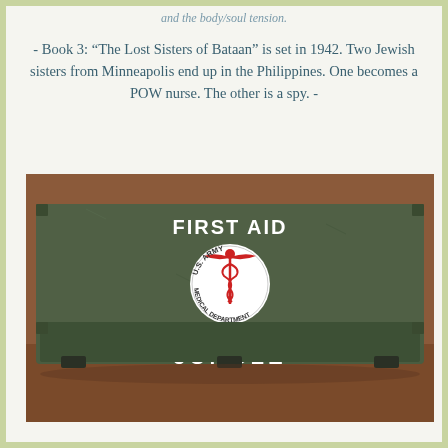and the body/soul tension.
- Book 3: “The Lost Sisters of Bataan” is set in 1942. Two Jewish sisters from Minneapolis end up in the Philippines. One becomes a POW nurse. The other is a spy. -
[Figure (photo): A dark olive-green U.S. Army FIRST AID metal box labeled 'F-6-B JUNGLE' with a U.S. Army Medical Department caduceus emblem on top, sitting on a wooden surface.]